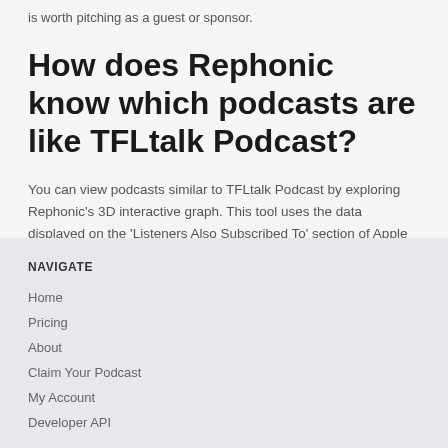is worth pitching as a guest or sponsor.
How does Rephonic know which podcasts are like TFLtalk Podcast?
You can view podcasts similar to TFLtalk Podcast by exploring Rephonic's 3D interactive graph. This tool uses the data displayed on the 'Listeners Also Subscribed To' section of Apple Podcasts to visualise connections between shows.
NAVIGATE
Home
Pricing
About
Claim Your Podcast
My Account
Developer API